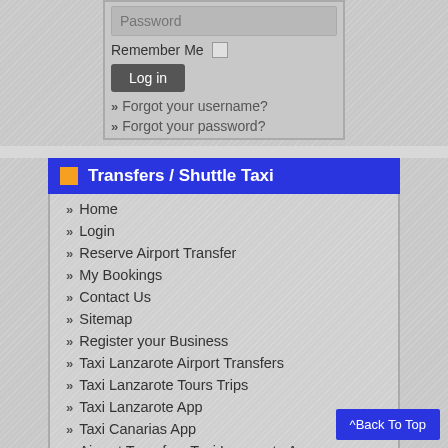Password
Remember Me
Log in
» Forgot your username?
» Forgot your password?
Transfers / Shuttle Taxi
» Home
» Login
» Reserve Airport Transfer
» My Bookings
» Contact Us
» Sitemap
» Register your Business
» Taxi Lanzarote Airport Transfers
» Taxi Lanzarote Tours Trips
» Taxi Lanzarote App
» Taxi Canarias App
» Airport Transfers Taxi Lanzarote App
» Airport-Transfers-Taxi-UK
Services Transfers / Shuttle Taxi
» Airport Transfers Taxi
» Airport Shuttle - Autobuses Transport
^Back To Top